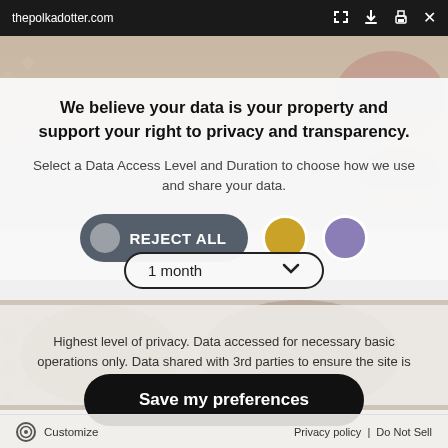thepolkadotter.com
We believe your data is your property and support your right to privacy and transparency.
Select a Data Access Level and Duration to choose how we use and share your data.
[Figure (screenshot): REJECT ALL button (dark grey pill with grey circle icon), gold circle button, purple circle button]
[Figure (screenshot): Dropdown selector showing '1 month' with chevron, bordered pill shape]
Highest level of privacy. Data accessed for necessary basic operations only. Data shared with 3rd parties to ensure the site is secure and works on your device
Save my preferences
Customize   Privacy policy  |  Do Not Sell